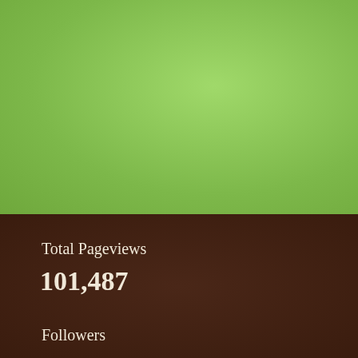[Figure (other): Large light green textured background panel occupying the top portion of the page]
Total Pageviews
101,487
Followers